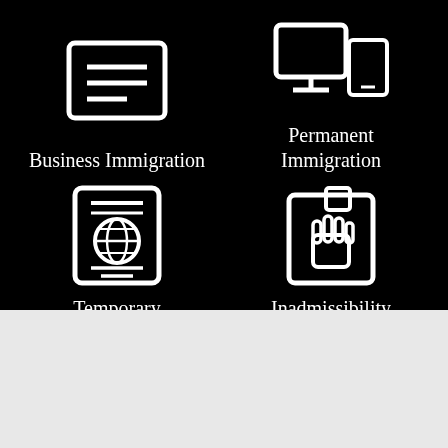[Figure (infographic): Four icons on black background: Business Immigration (document/form icon), Permanent Immigration (devices/monitor icon), Temporary Immigration (passport icon), Inadmissibility Matters (book with hand icon)]
Business Immigration
Permanent Immigration
Temporary Immigration
Inadmissibility Matters
[Figure (photo): Photograph of a person speaking at a press conference with Canadian flags and grey curtains in the background]